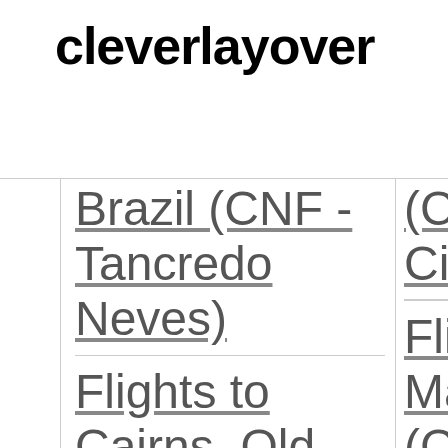cleverlayover
| Destination |  |
| --- | --- |
| Brazil (CNF - Tancredo Neves) Flights to Cairns, Qld., Australia (CNS-... | (C... Ci... Fli... Ma... (C... |